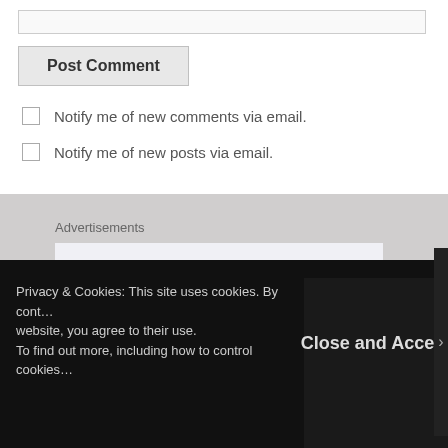[text input bar]
Post Comment
Notify me of new comments via email.
Notify me of new posts via email.
Advertisements
[Figure (other): Advertisement image showing partial text 'Build a writing']
Privacy & Cookies: This site uses cookies. By cont… website, you agree to their use. To find out more, including how to control cookies…
Close and Accept